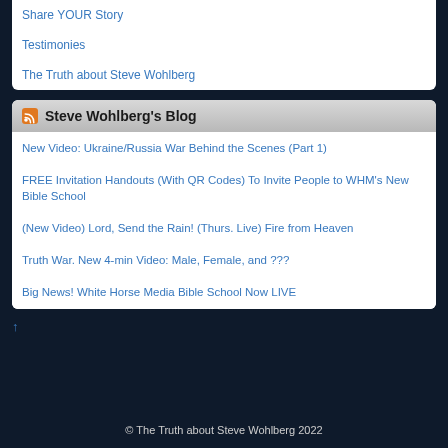Share YOUR Story
Testimonies
The Truth about Steve Wohlberg
Steve Wohlberg's Blog
New Video: Ukraine/Russia War Behind the Scenes (Part 1)
FREE Invitation Handouts (With QR Codes) To Invite People to WHM's New Bible School
(New Video) Lord, Send the Rain! (Thurs. Live) Fire from Heaven
Truth War. New 4-min Video: Male, Female, and ???
Big News! White Horse Media Bible School Now LIVE
© The Truth about Steve Wohlberg 2022